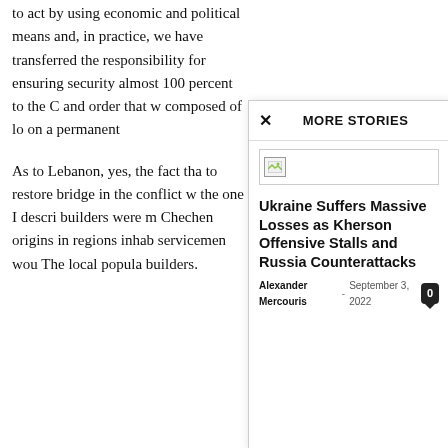to act by using economic and political means and, in practice, we have transferred the responsibility for ensuring security almost 100 percent to the C and order that w composed of lo on a permanent
As to Lebanon, yes, the fact tha to restore bridge in the conflict w the one I descri builders were m Chechen origins in regions inhab servicemen wou The local popula builders.
MORE STORIES
[Figure (photo): Broken/unloaded image placeholder in modal]
Ukraine Suffers Massive Losses as Kherson Offensive Stalls and Russia Counterattacks
Alexander Mercouris - September 3, 2022  0